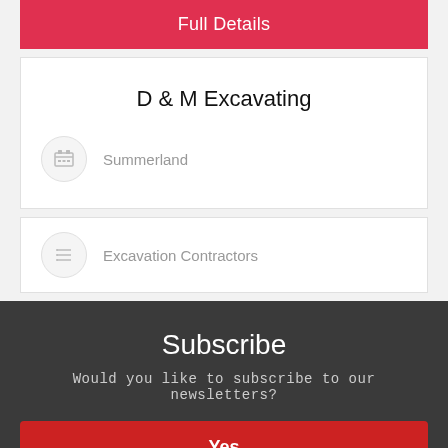Full Details
D & M Excavating
Summerland
Excavation Contractors
Subscribe
Would you like to subscribe to our newsletters?
Yes
No